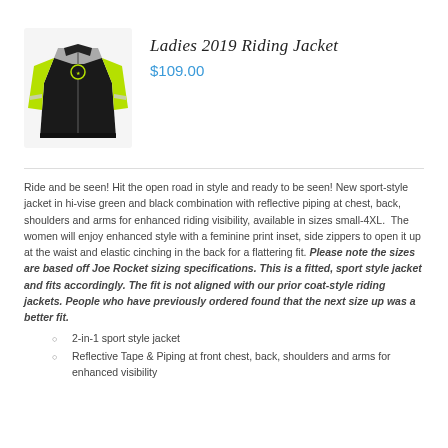[Figure (photo): Product photo of a ladies motorcycle riding jacket in hi-vis green and black with reflective piping]
Ladies 2019 Riding Jacket
$109.00
Ride and be seen! Hit the open road in style and ready to be seen! New sport-style jacket in hi-vise green and black combination with reflective piping at chest, back, shoulders and arms for enhanced riding visibility, available in sizes small-4XL. The women will enjoy enhanced style with a feminine print inset, side zippers to open it up at the waist and elastic cinching in the back for a flattering fit. Please note the sizes are based off Joe Rocket sizing specifications. This is a fitted, sport style jacket and fits accordingly. The fit is not aligned with our prior coat-style riding jackets. People who have previously ordered found that the next size up was a better fit.
2-in-1 sport style jacket
Reflective Tape & Piping at front chest, back, shoulders and arms for enhanced visibility